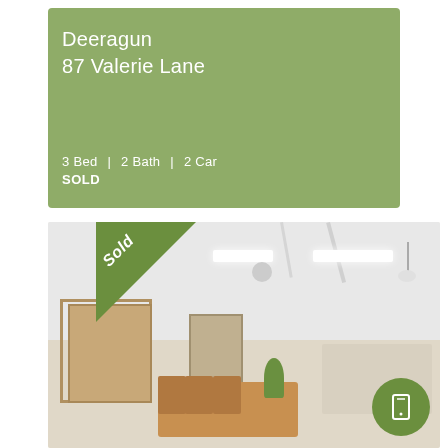Deeragun
87 Valerie Lane
3 Bed | 2 Bath | 2 Car
SOLD
[Figure (photo): Interior photo of an open-plan living and dining room with white ceiling with exposed beams and strip lighting, timber dining table with chairs, kitchen counter visible in background, sliding door to outdoor area on left, pendant lights, and a plant. A green 'Sold' triangle badge overlays the top-left corner of the photo.]